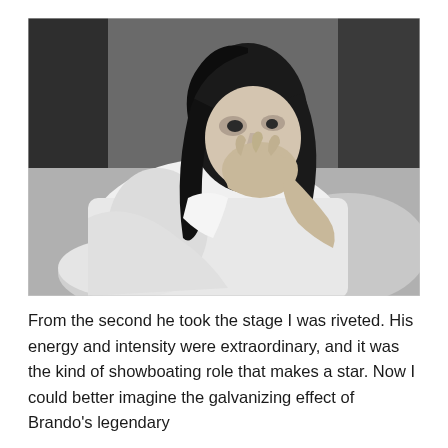[Figure (photo): Black and white photograph of a person with long dark hair, wearing a white fluffy robe or blanket, hand raised to mouth in a thoughtful or surprised expression, seated or reclining against a cushion or pillow, theatrical or candid setting.]
From the second he took the stage I was riveted. His energy and intensity were extraordinary, and it was the kind of showboating role that makes a star. Now I could better imagine the galvanizing effect of Brando's legendary